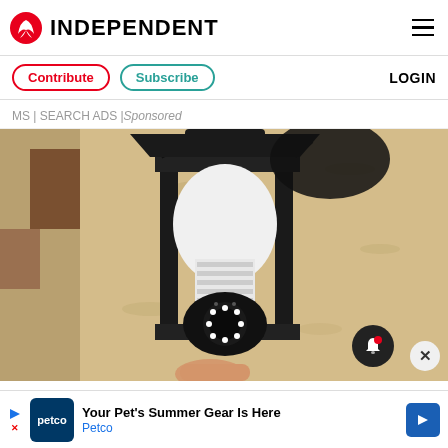INDEPENDENT
Contribute | Subscribe | LOGIN
MS | SEARCH ADS | Sponsored
[Figure (photo): A security camera shaped like a light bulb installed inside a black outdoor lantern fixture mounted on a textured beige stucco wall. The camera has LED ring lights at the bottom.]
Homeowners Are Trading In Their Doorbe...
Your Pet's Summer Gear Is Here — Petco (advertisement)